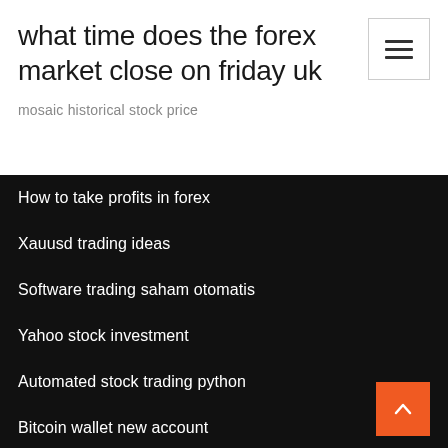what time does the forex market close on friday uk
mosaic historical stock price
How to take profits in forex
Xauusd trading ideas
Software trading saham otomatis
Yahoo stock investment
Automated stock trading python
Bitcoin wallet new account
Gtt stock value
If you had invested calculator